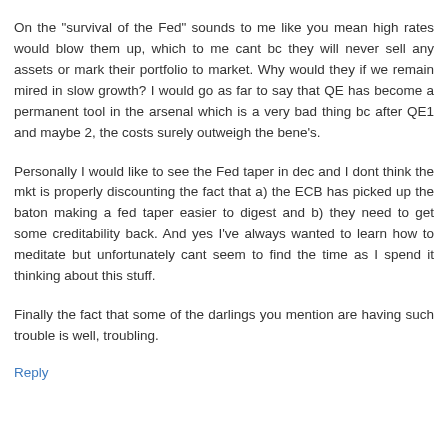On the "survival of the Fed" sounds to me like you mean high rates would blow them up, which to me cant bc they will never sell any assets or mark their portfolio to market. Why would they if we remain mired in slow growth? I would go as far to say that QE has become a permanent tool in the arsenal which is a very bad thing bc after QE1 and maybe 2, the costs surely outweigh the bene's.
Personally I would like to see the Fed taper in dec and I dont think the mkt is properly discounting the fact that a) the ECB has picked up the baton making a fed taper easier to digest and b) they need to get some creditability back. And yes I've always wanted to learn how to meditate but unfortunately cant seem to find the time as I spend it thinking about this stuff.
Finally the fact that some of the darlings you mention are having such trouble is well, troubling.
Reply